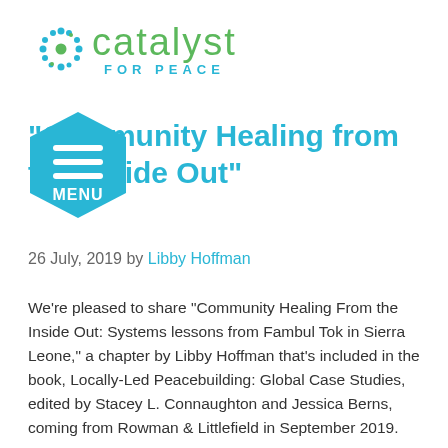[Figure (logo): Catalyst for Peace logo with green dot cluster icon and green 'catalyst' text with cyan 'FOR PEACE' subtitle]
[Figure (other): Cyan hexagon menu button with hamburger icon lines and 'MENU' text]
"Community Healing from the Inside Out"
26 July, 2019 by Libby Hoffman
We're pleased to share "Community Healing From the Inside Out: Systems lessons from Fambul Tok in Sierra Leone," a chapter by Libby Hoffman that's included in the book, Locally-Led Peacebuilding: Global Case Studies, edited by Stacey L. Connaughton and Jessica Berns, coming from Rowman & Littlefield in September 2019.